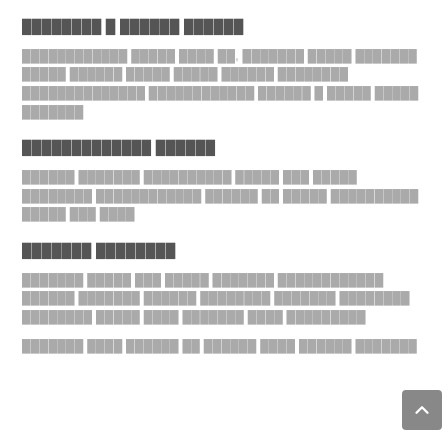████████ █ ██████ ██████
████████████ █████ ████ ██, ███████ █████ ███████ █████ ██████ █████ █████ ██████████ ████████████████ ████████████ ██████ █ █████ █████ ███████
█████████████ ██████
██████ ███████ ██████ ████ ███ █████ ████████ ████████████ ██████ ██ █████ ██████████ █████ ███ ████
███████ ████████
███████ █████ ███ █████ ███████ ████████████ ██████ ███████ ██████ ████████ ███████ ████████ ████████ █████ ████ ███████ ████ █████████ ████████ ████ ██████ ███ █████████ ████ ██████ ███████